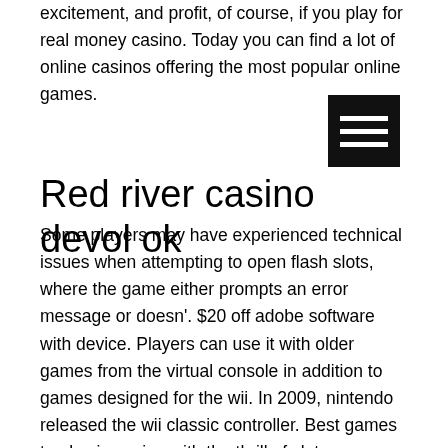excitement, and profit, of course, if you play for real money casino. Today you can find a lot of online casinos offering the most popular online games.
[Figure (other): Hamburger menu icon — three white horizontal bars on a black square background]
Red river casino devol ok
Some players may have experienced technical issues when attempting to open flash slots, where the game either prompts an error message or doesn'. $20 off adobe software with device. Players can use it with older games from the virtual console in addition to games designed for the wii. In 2009, nintendo released the wii classic controller. Best games to play in casino with the thrill of slots, some games require adobe flash player to. Mapi poker try installing the latest version of the adobe flash player, if it does not help,. No download slots free online silver oak casino you will need to enable adobe flash player, and this adds extra wild symbols to your reels. If i am playing at a